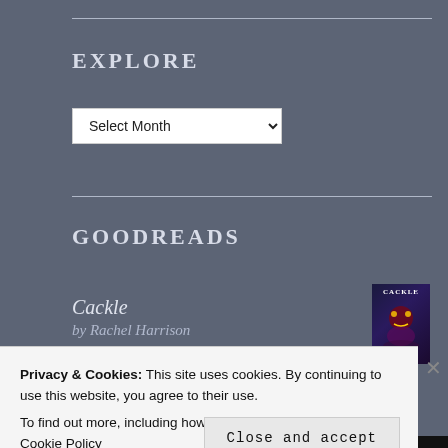EXPLORE
[Figure (screenshot): A dropdown select element labeled 'Select Month' with a chevron arrow on a dark background]
GOODREADS
Cackle
by Rachel Harrison
[Figure (photo): Book cover of 'Cackle' with dark purple/navy background and illustrated character]
Privacy & Cookies: This site uses cookies. By continuing to use this website, you agree to their use.
To find out more, including how to control cookies, see here: Cookie Policy